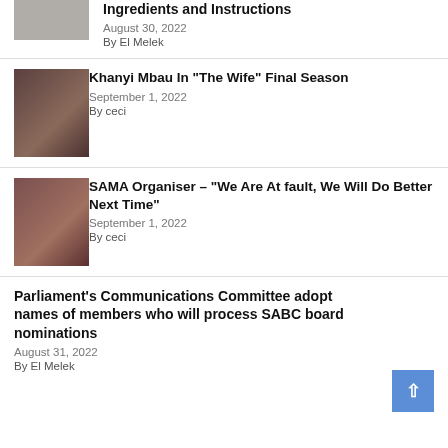Ingredients and Instructions — August 30, 2022 — By El Melek
Khanyi Mbau In “The Wife” Final Season — September 1, 2022 — By ceci
SAMA Organiser – “We Are At fault, We Will Do Better Next Time” — September 1, 2022 — By ceci
Parliament’s Communications Committee adopt names of members who will process SABC board nominations — August 31, 2022 — By El Melek